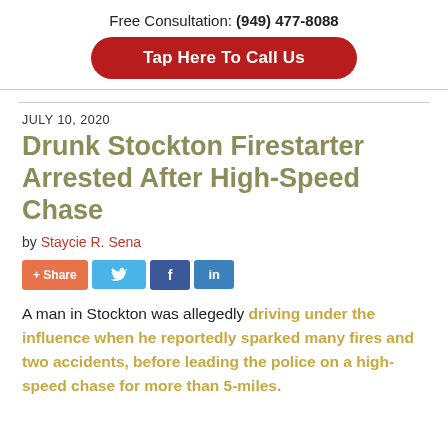Free Consultation: (949) 477-8088
Tap Here To Call Us
JULY 10, 2020
Drunk Stockton Firestarter Arrested After High-Speed Chase
by Staycie R. Sena
[Figure (other): Social share buttons: + Share, Twitter, Facebook, LinkedIn]
A man in Stockton was allegedly driving under the influence when he reportedly sparked many fires and two accidents, before leading the police on a high-speed chase for more than 5-miles.